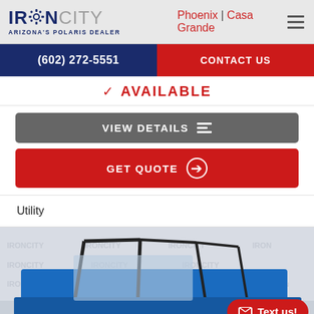IRON CITY - ARIZONA'S POLARIS DEALER | Phoenix | Casa Grande
(602) 272-5551 | CONTACT US
✓ AVAILABLE
VIEW DETAILS
GET QUOTE
Utility
[Figure (photo): Blue off-road utility vehicle (UTV/SxS) photographed in a showroom with Iron City branded backdrop. Vehicle appears to be a Polaris Trail model in blue color.]